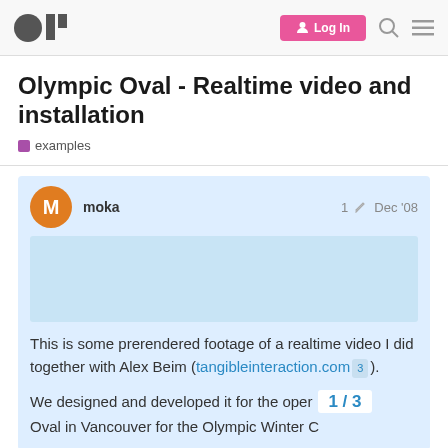openFrameworks forum — Log In
Olympic Oval - Realtime video and installation
examples
moka  1  Dec '08
This is some prerendered footage of a realtime video I did together with Alex Beim (tangibleinteraction.com 3 ).
We designed and developed it for the open Oval in Vancouver for the Olympic Winter…
1 / 3